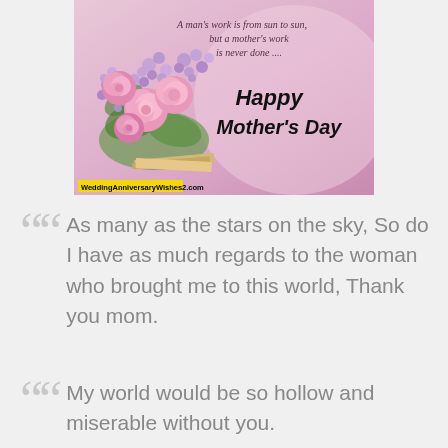[Figure (illustration): Mother's Day greeting card with pink roses and purple lilac flowers on left, pink gradient background, italic text 'A man's work is from sun to sun, but a mother's work is never done ....' and stylized 'Happy Mother's Day' in black script font. Yellow watermark label 'WeddingAnniversaryWishes2.com' at bottom left.]
As many as the stars on the sky, So do I have as much regards to the woman who brought me to this world, Thank you mom.
My world would be so hollow and miserable without you.